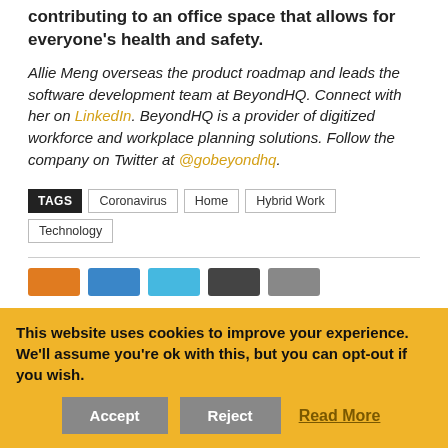contributing to an office space that allows for everyone's health and safety.
Allie Meng overseas the product roadmap and leads the software development team at BeyondHQ. Connect with her on LinkedIn. BeyondHQ is a provider of digitized workforce and workplace planning solutions. Follow the company on Twitter at @gobeyondhq.
TAGS: Coronavirus | Home | Hybrid Work | Technology
[Figure (other): Social sharing buttons row (Facebook, LinkedIn, Twitter, Email, Print)]
This website uses cookies to improve your experience. We'll assume you're ok with this, but you can opt-out if you wish. Accept | Reject | Read More